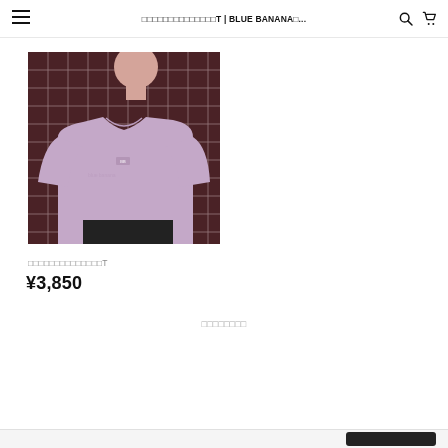□□□□□□□□□□□□□□T | BLUE BANANA□...
[Figure (photo): Person wearing a lavender/pink long-sleeve T-shirt standing in front of a dark brown tiled wall]
□□□□□□□□□□□□□□T
¥3,850
□□□□□□□□